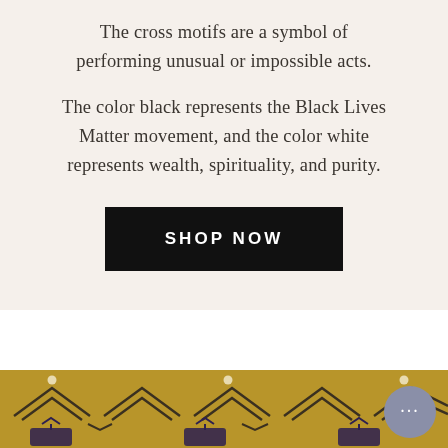The cross motifs are a symbol of performing unusual or impossible acts.

The color black represents the Black Lives Matter movement, and the color white represents wealth, spirituality, and purity.
SHOP NOW
[Figure (illustration): Partial view of a gold/yellow fabric or textile with dark geometric patterns including zigzag/chevron shapes and stylized motif designs, possibly Kente-style African fabric. Small white/cream dots scattered across. Chat bubble icon visible at bottom right.]